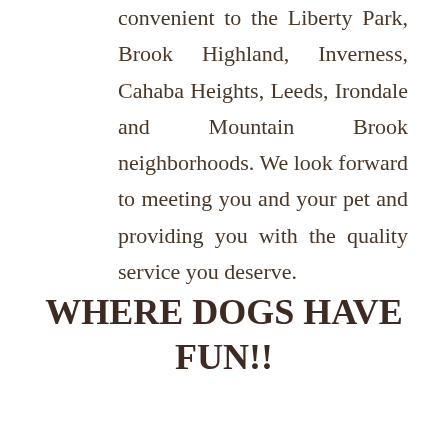convenient to the Liberty Park, Brook Highland, Inverness, Cahaba Heights, Leeds, Irondale and Mountain Brook neighborhoods. We look forward to meeting you and your pet and providing you with the quality service you deserve.
WHERE DOGS HAVE FUN!!